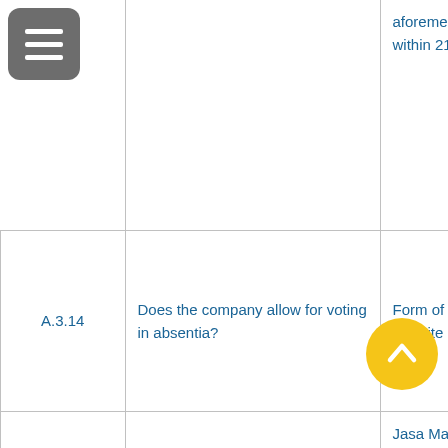|  | Question | Answer |
| --- | --- | --- |
|  |  | aforementioned information, Summons for AGMS made within 21 calendar days before performance of GM... |
| A.3.14 | Does the company allow for voting in absentia? | Form of power of attorney can be downloaded through website |
| A.3.15 | Does the company give the opportunity for shareholder to place items on the agenda of... | Jasa Marga provides opportunities to Shareholders to be able to propose agenda to AGMS within th... |